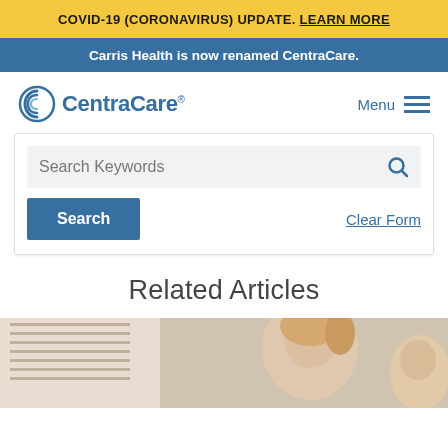COVID-19 (CORONAVIRUS) UPDATE. LEARN MORE
Carris Health is now renamed CentraCare.
[Figure (logo): CentraCare logo with stylized C icon and blue text]
Menu
[Figure (other): Search Keywords input box with search icon]
Search
Clear Form
Related Articles
[Figure (photo): Photo of a woman with blonde hair, close-up portrait]